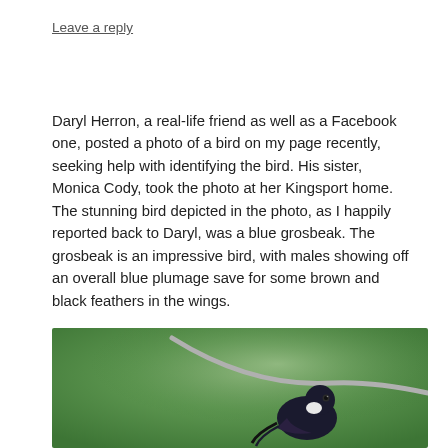Leave a reply
Daryl Herron, a real-life friend as well as a Facebook one, posted a photo of a bird on my page recently, seeking help with identifying the bird. His sister, Monica Cody, took the photo at her Kingsport home. The stunning bird depicted in the photo, as I happily reported back to Daryl, was a blue grosbeak. The grosbeak is an impressive bird, with males showing off an overall blue plumage save for some brown and black feathers in the wings.
[Figure (photo): Close-up photograph of a bird (blue grosbeak) perched on a branch, with green blurred background. The bird has dark blue/black plumage with a white patch visible near its face.]